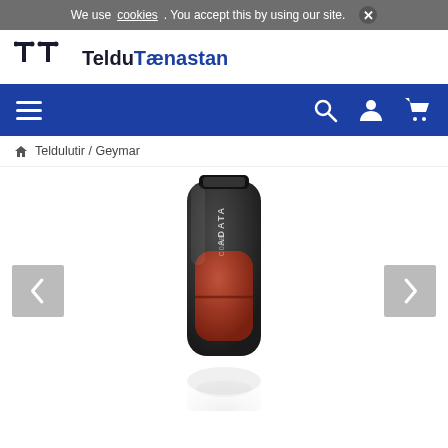We use cookies. You accept this by using our site. ✕
[Figure (logo): TelduTænastan logo with stylized T-T icon]
Navigation bar with hamburger menu, search, account, and cart icons
🏠 Teldulutir / Geymar
[Figure (photo): ADATA C008 USB flash drive, black with red sliding cap, shown at an angle with reflection below]